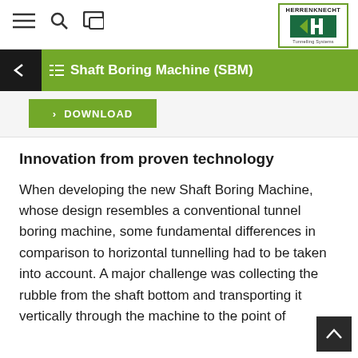Shaft Boring Machine (SBM) — Herrenknecht Tunnelling Systems
Innovation from proven technology
When developing the new Shaft Boring Machine, whose design resembles a conventional tunnel boring machine, some fundamental differences in comparison to horizontal tunnelling had to be taken into account. A major challenge was collecting the rubble from the shaft bottom and transporting it vertically through the machine to the point of